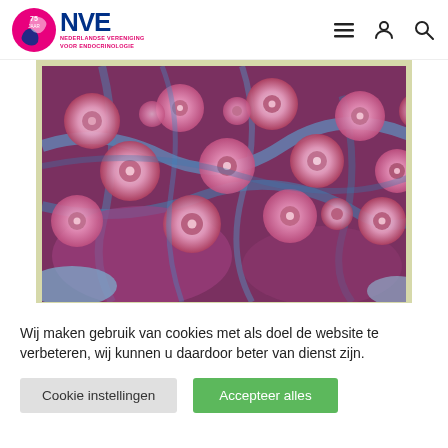[Figure (logo): NVE logo — Nederlandse Vereniging voor Endocrinologie, 75 jaar, circular pink/blue swirl icon with blue NVE text]
[Figure (photo): Microscopy image of endocrine tissue — histological stain showing round follicular structures (pink/purple cells) and fibrous blue connective tissue, Masson trichrome-like stain]
Wij maken gebruik van cookies met als doel de website te verbeteren, wij kunnen u daardoor beter van dienst zijn.
Cookie instellingen
Accepteer alles